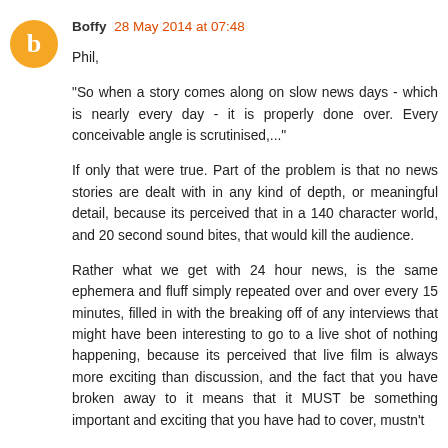[Figure (illustration): Orange circular avatar with white blogger 'b' logo icon]
Boffy 28 May 2014 at 07:48
Phil,

"So when a story comes along on slow news days - which is nearly every day - it is properly done over. Every conceivable angle is scrutinised,..."

If only that were true. Part of the problem is that no news stories are dealt with in any kind of depth, or meaningful detail, because its perceived that in a 140 character world, and 20 second sound bites, that would kill the audience.

Rather what we get with 24 hour news, is the same ephemera and fluff simply repeated over and over every 15 minutes, filled in with the breaking off of any interviews that might have been interesting to go to a live shot of nothing happening, because its perceived that live film is always more exciting than discussion, and the fact that you have broken away to it means that it MUST be something important and exciting that you have had to cover, mustn't